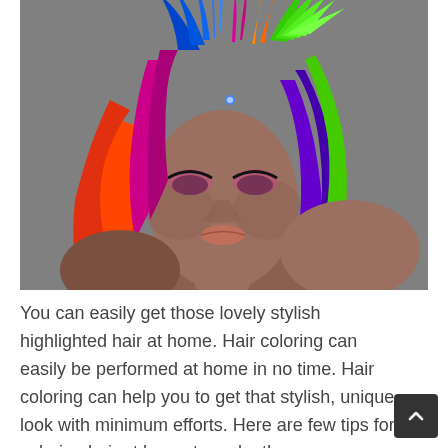[Figure (photo): A woman with dramatic, colorful highlighted hair in multiple vivid colors including orange, red, magenta/pink, purple, blue, and green. She also has colorful feathers or similar accessories in her hair. The background is grey. She has dramatic eye makeup.]
You can easily get those lovely stylish highlighted hair at home. Hair coloring can easily be performed at home in no time. Hair coloring can help you to get that stylish, unique look with minimum efforts. Here are few tips for coloring hair at home to make the process simpler to all. Keep in mind to follow every instruction